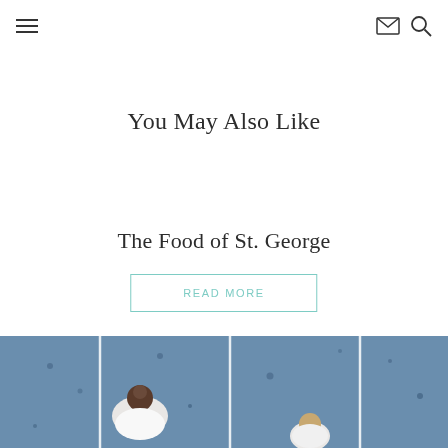Navigation header with hamburger menu, mail icon, and search icon
You May Also Like
The Food of St. George
READ MORE
[Figure (photo): Aerial or overhead view of two people wearing white shirts seen from above on a blue textured surface with white lines, possibly an outdoor court or track]